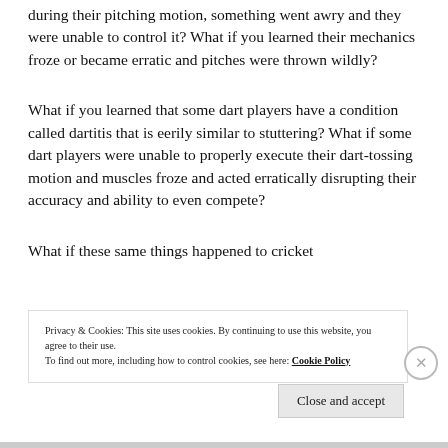during their pitching motion, something went awry and they were unable to control it?  What if you learned their mechanics froze or became erratic and pitches were thrown wildly?
What if you learned that some dart players have a condition called dartitis that is eerily similar to stuttering?  What if some dart players were unable to properly execute their dart-tossing motion and muscles froze and acted erratically disrupting their accuracy and ability to even compete?
What if these same things happened to cricket
Privacy & Cookies: This site uses cookies. By continuing to use this website, you agree to their use.
To find out more, including how to control cookies, see here: Cookie Policy
Close and accept